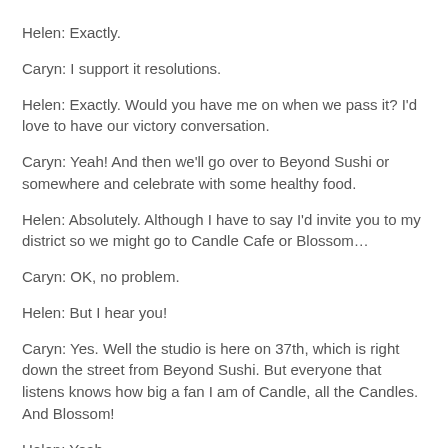Helen: Exactly.
Caryn: I support it resolutions.
Helen: Exactly. Would you have me on when we pass it? I'd love to have our victory conversation.
Caryn: Yeah! And then we'll go over to Beyond Sushi or somewhere and celebrate with some healthy food.
Helen: Absolutely. Although I have to say I'd invite you to my district so we might go to Candle Cafe or Blossom…
Caryn: OK, no problem.
Helen: But I hear you!
Caryn: Yes. Well the studio is here on 37th, which is right down the street from Beyond Sushi. But everyone that listens knows how big a fan I am of Candle, all the Candles. And Blossom!
Helen: Yeah.